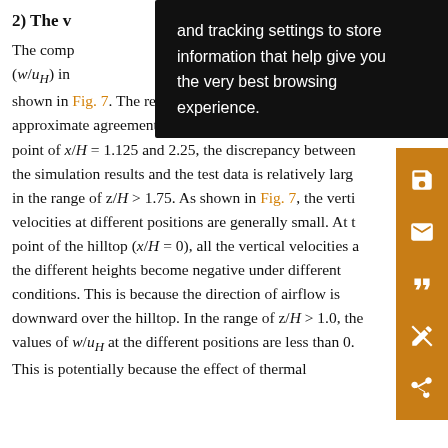2) The v[ertical velocity]
The comp[onents of the normalized vertical velociti]es (w/u_H) in [the different positions and different heights ar]e shown in Fig. 7. The results of the simulation are in approximate agreement with the test data. However, at point of x/H = 1.125 and 2.25, the discrepancy between the simulation results and the test data is relatively larg[e] in the range of z/H > 1.75. As shown in Fig. 7, the verti[cal] velocities at different positions are generally small. At t[he] point of the hilltop (x/H = 0), all the vertical velocities a[t] the different heights become negative under different conditions. This is because the direction of airflow is downward over the hilltop. In the range of z/H > 1.0, the values of w/u_H at the different positions are less than 0. This is potentially because the effect of thermal
and tracking settings to store information that help give you the very best browsing experience.